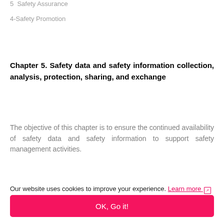5  Safety Assurance
4-Safety Promotion
Chapter 5. Safety data and safety information collection, analysis, protection, sharing, and exchange
The objective of this chapter is to ensure the continued availability of safety data and safety information to support safety management activities.
Our website uses cookies to improve your experience. Learn more ↗
OK, Go it!